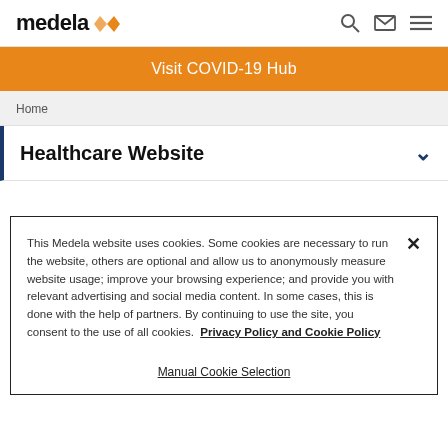medela [logo] — navigation bar with search, mail, menu icons
Visit COVID-19 Hub
Home
Healthcare Website
This Medela website uses cookies. Some cookies are necessary to run the website, others are optional and allow us to anonymously measure website usage; improve your browsing experience; and provide you with relevant advertising and social media content. In some cases, this is done with the help of partners. By continuing to use the site, you consent to the use of all cookies.  Privacy Policy and Cookie Policy
Manual Cookie Selection